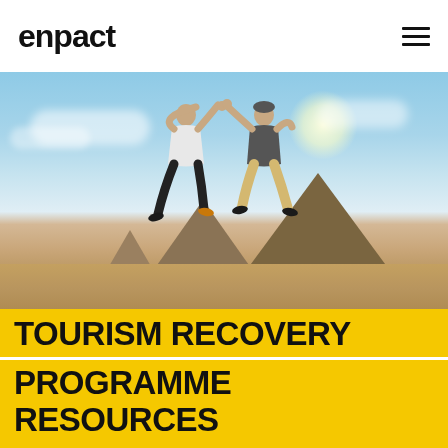enpact
[Figure (photo): Two people jumping and high-fiving in front of the Egyptian pyramids at Giza, with a bright sky and sandy desert ground.]
TOURISM RECOVERY PROGRAMME RESOURCES